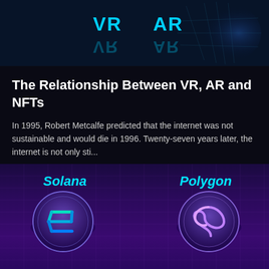[Figure (illustration): Dark blue banner image with VR and AR text labels in cyan/light blue, with reflections below]
The Relationship Between VR, AR and NFTs
In 1995, Robert Metcalfe predicted that the internet was not sustainable and would die in 1996. Twenty-seven years later, the internet is not only sti...
May 23, 2022
[Figure (illustration): Purple/violet blockchain themed banner showing Solana and Polygon cryptocurrency logos with their names in cyan italic text]